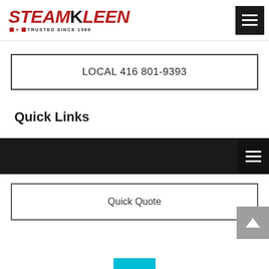SteamKleen - Trusted Since 1986
LOCAL 416 801-9393
Quick Links
Quick Quote